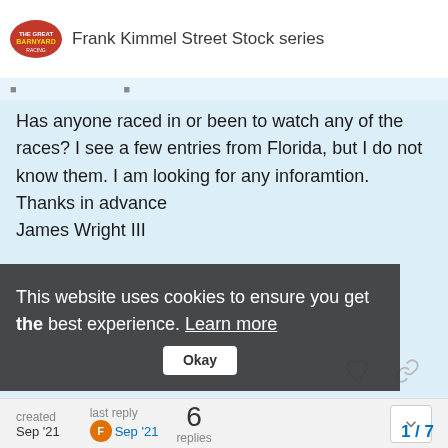Frank Kimmel Street Stock series
Has anyone raced in or been to watch any of the races? I see a few entries from Florida, but I do not know them. I am looking for any inforamtion.
Thanks in advance
James Wright III
created Sep '21   last reply Sep '21   6 replies
ancrdave   Sep '21
James... I don't have his # but David Gould (#16D Super Stock) has helped some guys when they raced at Rockingham... Same with John Bennett who runs at SpeedWorl
David is on Facebook or just try getting ah
This website uses cookies to ensure you get the best experience. Learn more
1/7